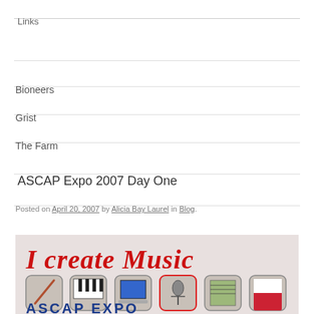Links
Bioneers
Grist
The Farm
ASCAP Expo 2007 Day One
Posted on April 20, 2007 by Alicia Bay Laurel in Blog.
[Figure (photo): ASCAP Expo 2007 banner showing 'I Create Music' text in red handwriting above a row of icon squares depicting music creation tools, with 'ASCAP EXPO' text at the bottom]